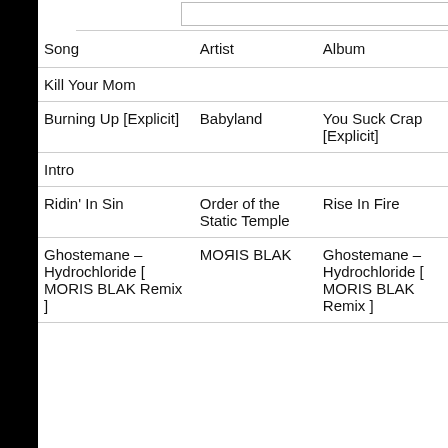| Song | Artist | Album |
| --- | --- | --- |
| Kill Your Mom |  |  |
| Burning Up [Explicit] | Babyland | You Suck Crap [Explicit] |
| Intro |  |  |
| Ridin' In Sin | Order of the Static Temple | Rise In Fire |
| Ghostemane – Hydrochloride [ MORIS BLAK Remix ] | MOЯIS BLAK | Ghostemane – Hydrochloride [ MORIS BLAK Remix ] |